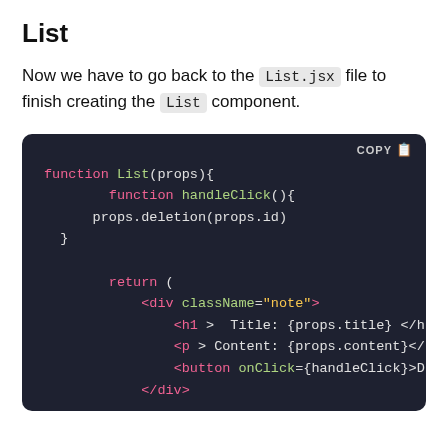List
Now we have to go back to the List.jsx file to finish creating the List component.
[Figure (screenshot): Code block with dark background showing a JavaScript/JSX function named List with handleClick inner function and JSX return containing div, h1, p, and button elements.]